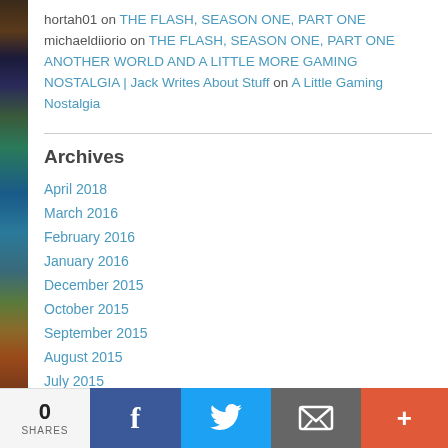hortah01 on THE FLASH, SEASON ONE, PART ONE
michaeldiiorio on THE FLASH, SEASON ONE, PART ONE
ANOTHER WORLD AND A LITTLE MORE GAMING NOSTALGIA | Jack Writes About Stuff on A Little Gaming Nostalgia
Archives
April 2018
March 2016
February 2016
January 2016
December 2015
October 2015
September 2015
August 2015
July 2015
June 2015
May 2015
April 2015
March 2015
0 SHARES | Facebook | Twitter | Email | More